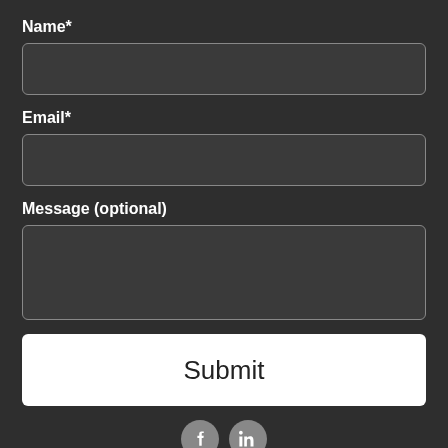Name*
Email*
Message (optional)
Submit
[Figure (infographic): Social media icons: Facebook and LinkedIn circular buttons]
2020. SIA Innovations. All rights reserved. Terms & Conditions. Privacy Policy.